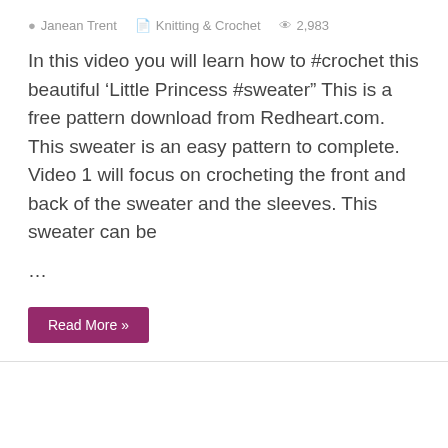Janean Trent   Knitting & Crochet   2,983
In this video you will learn how to #crochet this beautiful ‘Little Princess #sweater” This is a free pattern download from Redheart.com. This sweater is an easy pattern to complete. Video 1 will focus on crocheting the front and back of the sweater and the sleeves. This sweater can be
...
Read More »